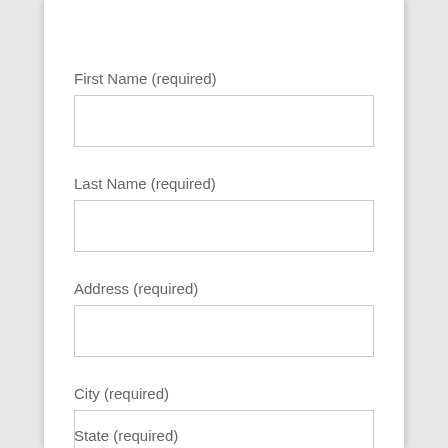First Name (required)
[Figure (other): Empty text input field for First Name]
Last Name (required)
[Figure (other): Empty text input field for Last Name]
Address (required)
[Figure (other): Empty text input field for Address]
City (required)
[Figure (other): Empty text input field for City]
State (required)